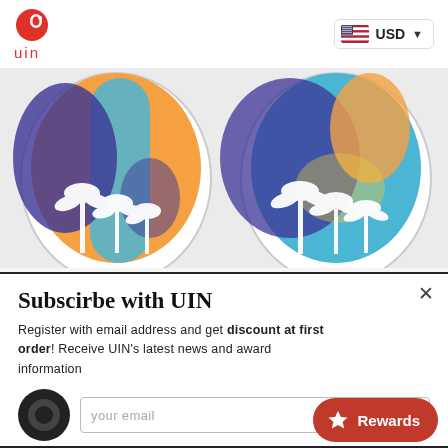[Figure (logo): UIN brand logo: red snail/animal icon above red 'uin' text]
[Figure (screenshot): Currency selector widget showing US flag and 'USD' with dropdown arrow]
[Figure (photo): Two colorful slip-on shoes viewed from above, featuring palm tree designs with orange, blue, and purple colors and white palm tree silhouettes]
Subscirbe with UIN
Register with email address and get discount at first order! Receive UIN's latest news and award information
your email